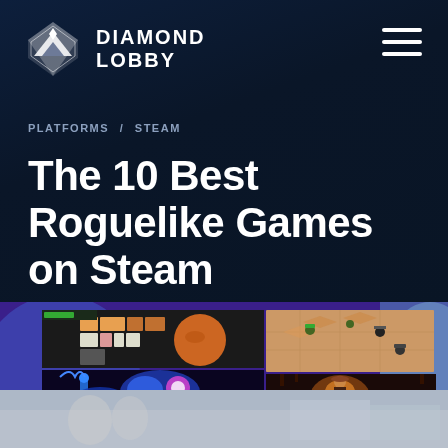[Figure (logo): Diamond Lobby logo: white diamond shape icon with mountain silhouette, next to bold white uppercase text 'DIAMOND LOBBY']
[Figure (other): Hamburger menu icon (three horizontal white lines) in top right corner]
PLATFORMS / STEAM
The 10 Best Roguelike Games on Steam
[Figure (photo): Collage of roguelike game screenshots including top-down dungeon map view, isometric strategy game, side-scrolling action platformer with purple/blue tones, dark action game, and other game screenshots arranged in a grid mosaic]